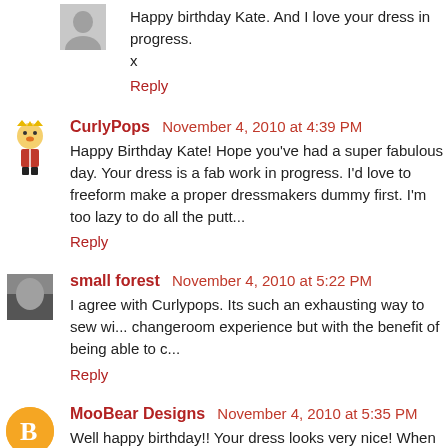Happy birthday Kate. And I love your dress in progress.
x
Reply
CurlyPops November 4, 2010 at 4:39 PM
Happy Birthday Kate! Hope you've had a super fabulous day. Your dress is a fab work in progress. I'd love to freeform make a proper dressmakers dummy first. I'm too lazy to do all the putt...
Reply
small forest November 4, 2010 at 5:22 PM
I agree with Curlypops. Its such an exhausting way to sew wi... changeroom experience but with the benefit of being able to c...
Reply
MooBear Designs November 4, 2010 at 5:35 PM
Well happy birthday!! Your dress looks very nice! When you a... the end of the month!! Hehe..

xo Steph